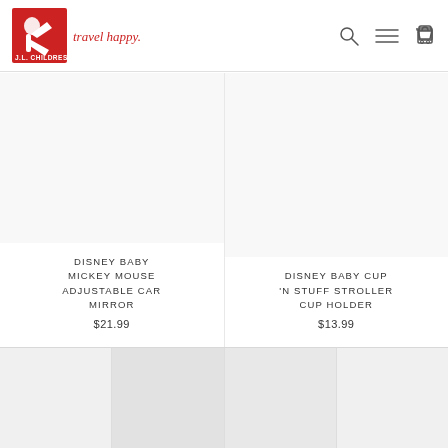J.L. CHILDRESS travel happy.
DISNEY BABY MICKEY MOUSE ADJUSTABLE CAR MIRROR $21.99
DISNEY BABY CUP 'N STUFF STROLLER CUP HOLDER $13.99
[Figure (photo): Bottom strip of four thumbnail images of people traveling]